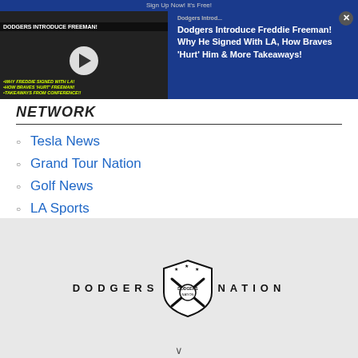[Figure (screenshot): Video thumbnail showing Dodgers Introduce Freddie Freeman advertisement with play button overlay]
Sign Up Now! It's Free!
Dodgers Introduce Freddie Freeman! Why He Signed With LA, How Braves 'Hurt' Him & More Takeaways!
NETWORK
Tesla News
Grand Tour Nation
Golf News
LA Sports
Kicksologists
[Figure (logo): Dodgers Nation logo with shield/crest emblem and text DODGERS NATION]